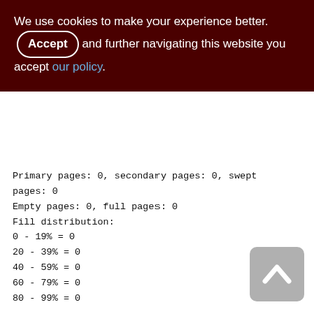We use cookies to make your experience better. By accepting and further navigating this website you accept our policy.
Primary pages: 0, secondary pages: 0, swept pages: 0
Empty pages: 0, full pages: 0
Fill distribution:
0 - 19% = 0
20 - 39% = 0
40 - 59% = 0
60 - 79% = 0
80 - 99% = 0

Index ZPSTORNED_ID (0)
Root page: 663, depth: 1, leaf buckets: 1,
nodes: 0